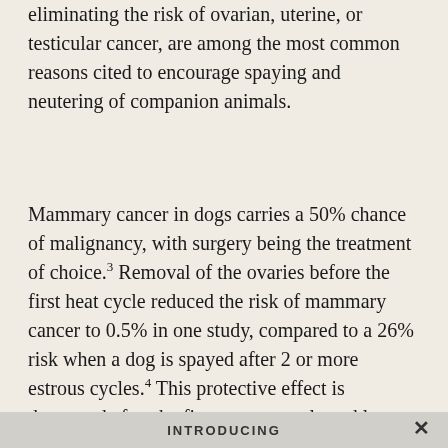eliminating the risk of ovarian, uterine, or testicular cancer, are among the most common reasons cited to encourage spaying and neutering of companion animals.
Mammary cancer in dogs carries a 50% chance of malignancy, with surgery being the treatment of choice.3 Removal of the ovaries before the first heat cycle reduced the risk of mammary cancer to 0.5% in one study, compared to a 26% risk when a dog is spayed after 2 or more estrous cycles.4 This protective effect is decreased after the first estrous cycle and lost once a mammary tumor has developed.3,5 A recent systematic review of literature evaluating the impact of ovariectomy on the risk of canine mammary neoplasia determined that evidence supporting the protective link is weak, largel...
INTRODUCING